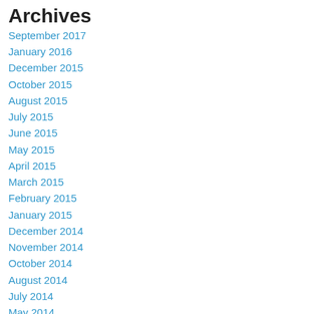Archives
September 2017
January 2016
December 2015
October 2015
August 2015
July 2015
June 2015
May 2015
April 2015
March 2015
February 2015
January 2015
December 2014
November 2014
October 2014
August 2014
July 2014
May 2014
April 2014